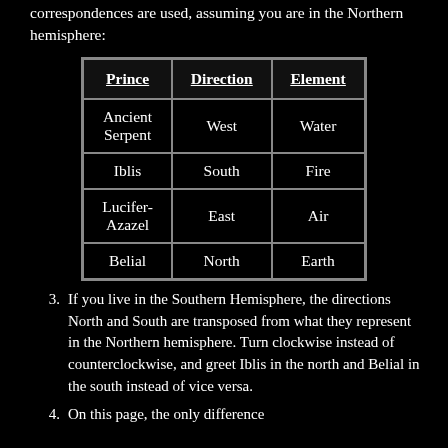correspondences are used, assuming you are in the Northern hemisphere:
| Prince | Direction | Element |
| --- | --- | --- |
| Ancient Serpent | West | Water |
| Iblis | South | Fire |
| Lucifer-Azazel | East | Air |
| Belial | North | Earth |
3. If you live in the Southern Hemisphere, the directions North and South are transposed from what they represent in the Northern hemisphere. Turn clockwise instead of counterclockwise, and greet Iblis in the north and Belial in the south instead of vice versa.
4. On this page, the only difference